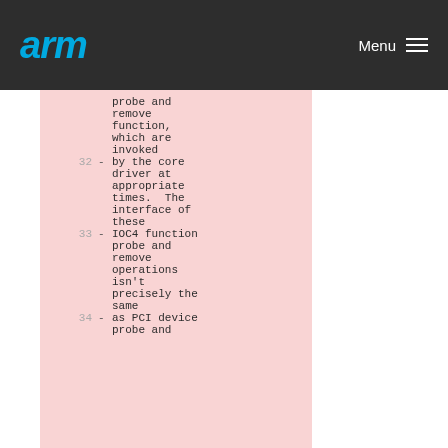arm  Menu
probe and
remove
function,
which are
invoked
32 - by the core
   driver at
   appropriate
   times.  The
   interface of
   these
33 - IOC4 function
   probe and
   remove
   operations
   isn't
   precisely the
   same
34 - as PCI device
   probe and